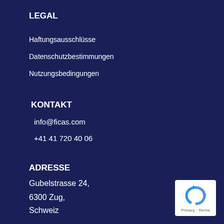LEGAL
Haftungsausschlüsse
Datenschutzbestimmungen
Nutzungsbedingungen
KONTAKT
info@ficas.com
+41 41 720 40 06
ADRESSE
Gubelstrasse 24,
6300 Zug,
Schweiz
[Figure (logo): reCAPTCHA Privacy - Terms badge]